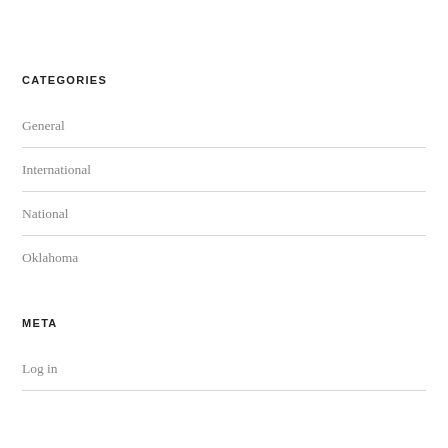CATEGORIES
General
International
National
Oklahoma
META
Log in